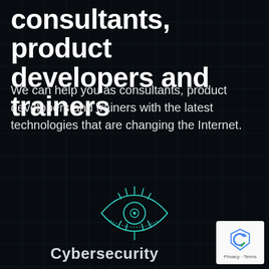consultants, product developers and trainers
We can help you as consultants, product developers and trainers with the latest technologies that are changing the Internet.
[Figure (illustration): Teal/cyan outline icon of an eye with eyelashes radiating outward, drawn in a circuit/tech style on a dark background with grid lines]
Cybersecurity